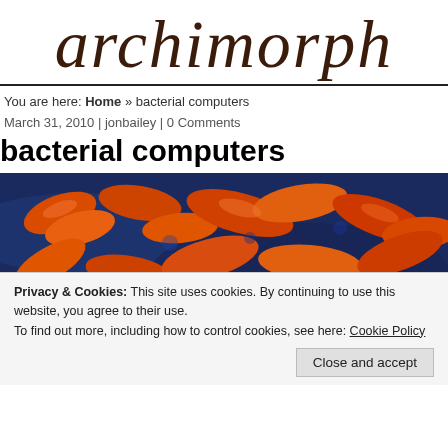archimorph
You are here: Home » bacterial computers
March 31, 2010 | jonbailey | 0 Comments
bacterial computers
[Figure (photo): Close-up electron microscope image of orange/red bacteria on a blue background]
Privacy & Cookies: This site uses cookies. By continuing to use this website, you agree to their use.
To find out more, including how to control cookies, see here: Cookie Policy
Close and accept